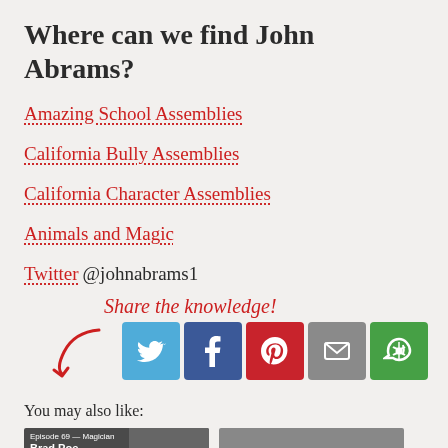Where can we find John Abrams?
Amazing School Assemblies
California Bully Assemblies
California Character Assemblies
Animals and Magic
Twitter @johnabrams1
[Figure (infographic): Share the knowledge! text with a curved red arrow pointing to social share buttons: Twitter (blue bird), Facebook (blue f), Pinterest (red P), Email (grey envelope), More (green circular arrows)]
You may also like:
[Figure (photo): Two thumbnail images side by side. Left thumbnail shows a person with text 'Episode 69 — Magician Brad Poe'. Right thumbnail shows a person's face.]